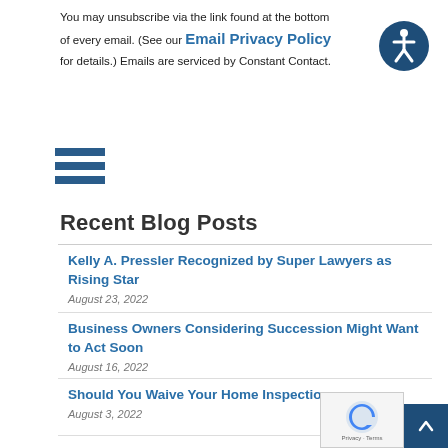You may unsubscribe via the link found at the bottom of every email. (See our Email Privacy Policy for details.) Emails are serviced by Constant Contact.
[Figure (other): Accessibility icon: dark blue circle with white wheelchair/person symbol inside]
[Figure (other): Hamburger menu icon: three horizontal dark blue bars]
Recent Blog Posts
Kelly A. Pressler Recognized by Super Lawyers as Rising Star
August 23, 2022
Business Owners Considering Succession Might Want to Act Soon
August 16, 2022
Should You Waive Your Home Inspection
August 3, 2022